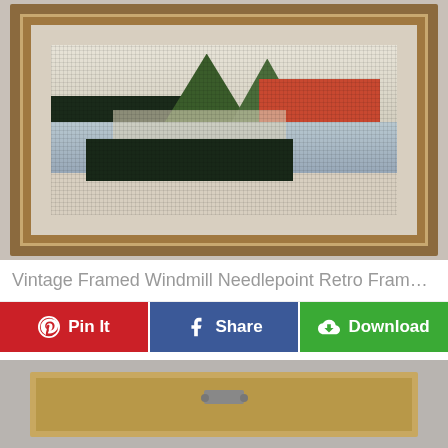[Figure (photo): Framed needlepoint artwork showing a windmill and landscape scene, displayed hanging on a white wall. The frame is dark brown wood with a beige mat.]
Vintage Framed Windmill Needlepoint Retro Framed L...
Pin It
Share
Download
[Figure (photo): Back of the wooden picture frame showing the hanging hardware/hanger bracket mounted in the center of the frame backing.]